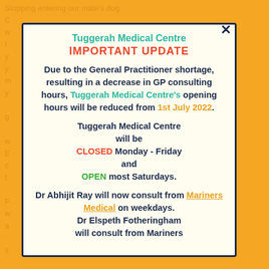[Figure (screenshot): Background page text in orange/amber color, partially visible behind the notice popup]
Tuggerah Medical Centre
IMPORTANT UPDATE
Due to the General Practitioner shortage, resulting in a decrease in GP consulting hours, Tuggerah Medical Centre's opening hours will be reduced from 1st July 2022.
Tuggerah Medical Centre will be CLOSED Monday - Friday and OPEN most Saturdays.
Dr Abhijit Ray will now consult from Mariners Medical on weekdays. Dr Elspeth Fotheringham will consult from Mariners